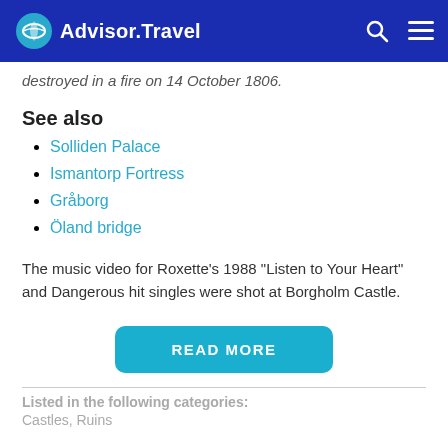Advisor.Travel
destroyed in a fire on 14 October 1806.
See also
Solliden Palace
Ismantorp Fortress
Gråborg
Öland bridge
The music video for Roxette's 1988 "Listen to Your Heart" and Dangerous hit singles were shot at Borgholm Castle.
READ MORE
Listed in the following categories:
Castles, Ruins